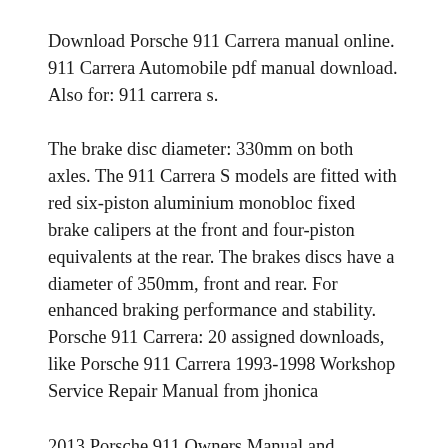Download Porsche 911 Carrera manual online. 911 Carrera Automobile pdf manual download. Also for: 911 carrera s.
The brake disc diameter: 330mm on both axles. The 911 Carrera S models are fitted with red six-piston aluminium monobloc fixed brake calipers at the front and four-piston equivalents at the rear. The brakes discs have a diameter of 350mm, front and rear. For enhanced braking performance and stability. Porsche 911 Carrera: 20 assigned downloads, like Porsche 911 Carrera 1993-1998 Workshop Service Repair Manual from jhonica
2013 Porsche 911 Owners Manual and Concept. The new Porsche owners concept is one with a method...